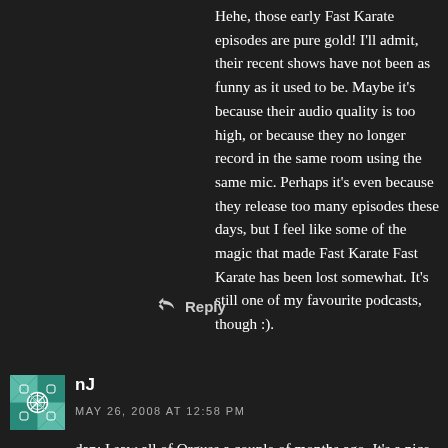Hehe, those early Fast Karate episodes are pure gold! I'll admit, their recent shows have not been as funny as it used to be. Maybe it's because their audio quality is too high, or because they no longer record in the same room using the same mic. Perhaps it's even because they release too many episodes these days, but I feel like some of the magic that made Fast Karate Fast Karate has been lost somewhat. It's still one of my favourite podcasts, though :).
↩ Reply
[Figure (illustration): Avatar image for user nJ — decorative geometric/floral pattern in teal and white]
nJ
MAY 26, 2008 AT 12:58 PM
dan: I saw all of Orguss a couple of months ago. It's a nice show, but I admit it has plenty of